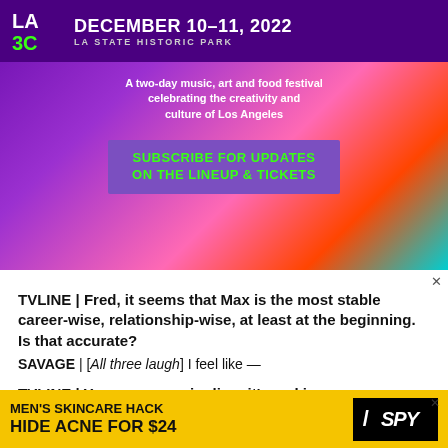[Figure (illustration): LA3C festival advertisement banner. Purple/gradient background with colorful paint strokes. Shows LA3C logo, 'DECEMBER 10-11, 2022 LA STATE HISTORIC PARK', description text 'A two-day music, art and food festival celebrating the creativity and culture of Los Angeles', and a subscribe button 'SUBSCRIBE FOR UPDATES ON THE LINEUP & TICKETS'.]
TVLINE | Fred, it seems that Max is the most stable career-wise, relationship-wise, at least at the beginning. Is that accurate?
SAVAGE | [All three laugh] I feel like —
TVLINE | You guys are giggling, it's making me nervous.
STOLLER | We don't want to ruin what happens. But lo-
[Figure (advertisement): Yellow banner ad: MEN'S SKINCARE HACK / HIDE ACNE FOR $24 with SPY logo]